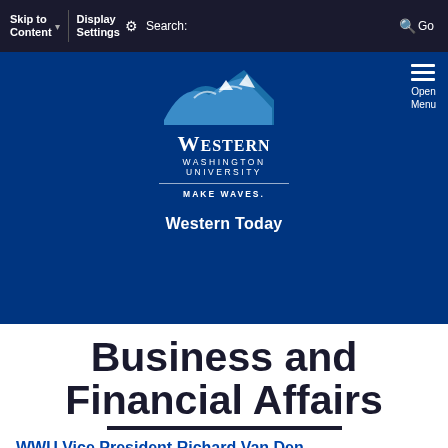Skip to Content | Display Settings | Search: | Go
[Figure (logo): Western Washington University logo with mountain peaks and text WESTERN WASHINGTON UNIVERSITY MAKE WAVES.]
Western Today
Business and Financial Affairs
WWU Vice President Richard Van Den